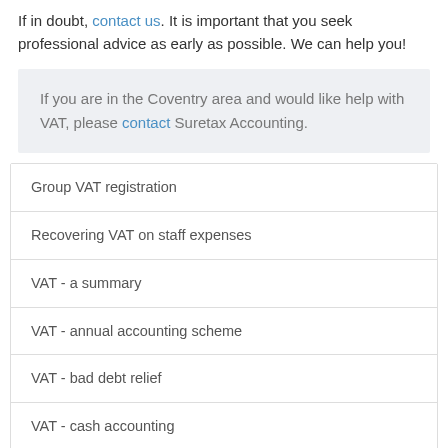If in doubt, contact us. It is important that you seek professional advice as early as possible. We can help you!
If you are in the Coventry area and would like help with VAT, please contact Suretax Accounting.
Group VAT registration
Recovering VAT on staff expenses
VAT - a summary
VAT - annual accounting scheme
VAT - bad debt relief
VAT - cash accounting